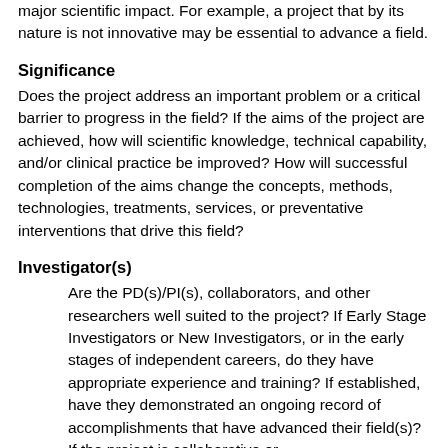major scientific impact. For example, a project that by its nature is not innovative may be essential to advance a field.
Significance
Does the project address an important problem or a critical barrier to progress in the field? If the aims of the project are achieved, how will scientific knowledge, technical capability, and/or clinical practice be improved? How will successful completion of the aims change the concepts, methods, technologies, treatments, services, or preventative interventions that drive this field?
Investigator(s)
Are the PD(s)/PI(s), collaborators, and other researchers well suited to the project? If Early Stage Investigators or New Investigators, or in the early stages of independent careers, do they have appropriate experience and training? If established, have they demonstrated an ongoing record of accomplishments that have advanced their field(s)? If the project is collaborative or